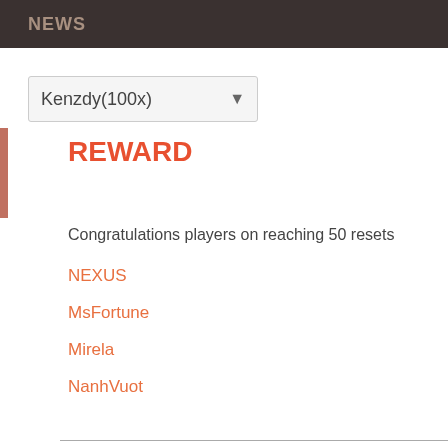NEWS
Kenzdy(100x)
REWARD
Congratulations players on reaching 50 resets
NEXUS
MsFortune
Mirela
NanhVuot
AUGUST 8, 2022, 12:
Repair Server